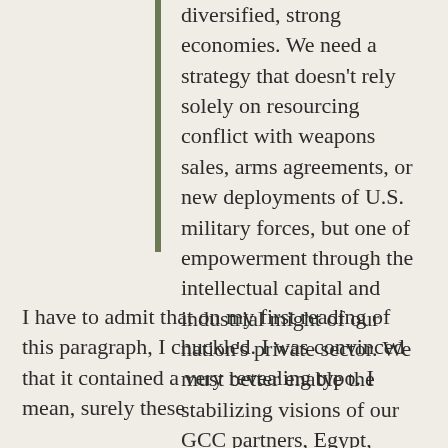Middle East in ways that promote diversified, strong economies. We need a strategy that doesn't rely solely on resourcing conflict with weapons sales, arms agreements, or new deployments of U.S. military forces, but one of empowerment through the intellectual capital and industrial might of our nation's private sector. We must better enable the stabilizing visions of our GCC partners, Egypt, Israel, and Jordan as part of a reimagined Middle East economy.
I have to admit that on my first reading of this paragraph, I chuckled. I was convinced that it contained a very revealing typo. I mean, surely these